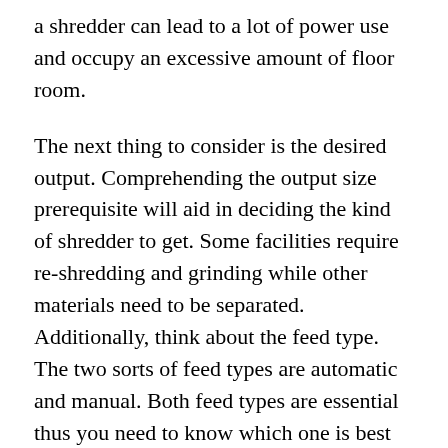a shredder can lead to a lot of power use and occupy an excessive amount of floor room.
The next thing to consider is the desired output. Comprehending the output size prerequisite will aid in deciding the kind of shredder to get. Some facilities require re-shredding and grinding while other materials need to be separated. Additionally, think about the feed type. The two sorts of feed types are automatic and manual. Both feed types are essential thus you need to know which one is best for you. Likewise, consider maintenance. Shredders persevere through a lot of maintenance and stress thus it is vital to keep them running proficiently.